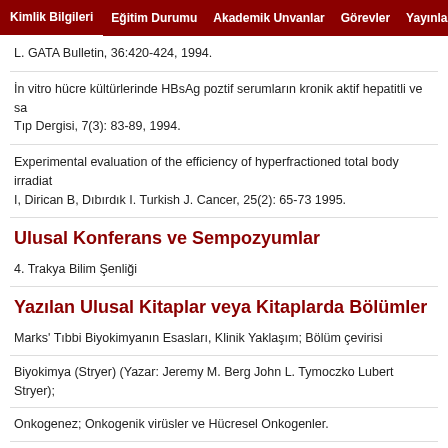Kimlik Bilgileri | Eğitim Durumu | Akademik Unvanlar | Görevler | Yayınlar | Verdig
L. GATA Bulletin, 36:420-424, 1994.
İn vitro hücre kültürlerinde HBsAg poztif serumların kronik aktif hepatitli ve sa Tıp Dergisi, 7(3): 83-89, 1994.
Experimental evaluation of the efficiency of hyperfractioned total body irradiat I, Dirican B, Dıbırdık I. Turkish J. Cancer, 25(2): 65-73 1995.
Ulusal Konferans ve Sempozyumlar
4. Trakya Bilim Şenliği
Yazılan Ulusal Kitaplar veya Kitaplarda Bölümler
Marks' Tıbbi Biyokimyanın Esasları, Klinik Yaklaşım; Bölüm çevirisi
Biyokimya (Stryer) (Yazar: Jeremy M. Berg John L. Tymoczko Lubert Stryer);
Onkogenez; Onkogenik virüsler ve Hücresel Onkogenler.
Yönetilen Doktora Tezleri